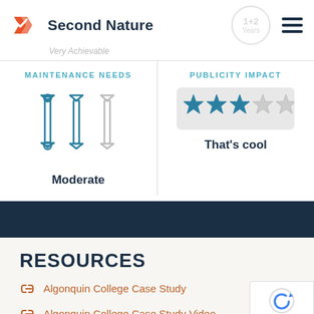[Figure (logo): Second Nature logo with orange chevron/checkmark icon and bold text 'Second Nature']
Very Achievable
1-2 Years
MAINTENANCE NEEDS
[Figure (infographic): Three wrench icons: two dark teal/blue and one light gray, indicating moderate maintenance needs]
Moderate
PUBLICITY IMPACT
[Figure (infographic): Star rating: 3 filled teal stars and 2 gray outlined stars out of 5]
That's cool
RESOURCES
Algonquin College Case Study
Algonquin College Case Study Video